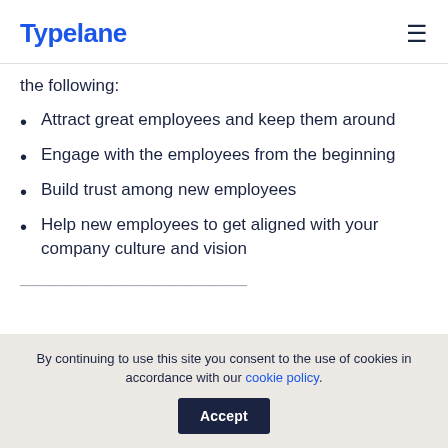Typelane
the following:
Attract great employees and keep them around
Engage with the employees from the beginning
Build trust among new employees
Help new employees to get aligned with your company culture and vision
By continuing to use this site you consent to the use of cookies in accordance with our cookie policy.